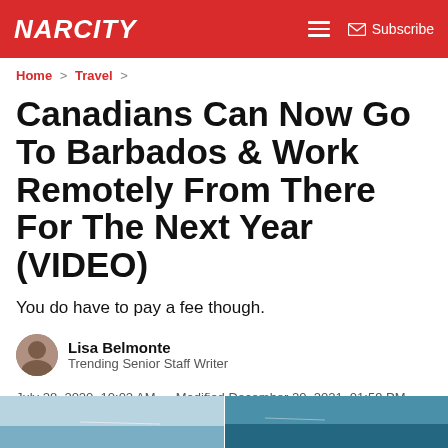NARCITY
Home > Travel >
Canadians Can Now Go To Barbados & Work Remotely From There For The Next Year (VIDEO)
You do have to pay a fee though.
Lisa Belmonte
Trending Senior Staff Writer
July 28, 2020, 10:02 AM — Modified December 20, 2021, 01:59 PM
comments
[Figure (photo): Two side-by-side partial images of ocean/beach scenes in Barbados at the bottom of the page]